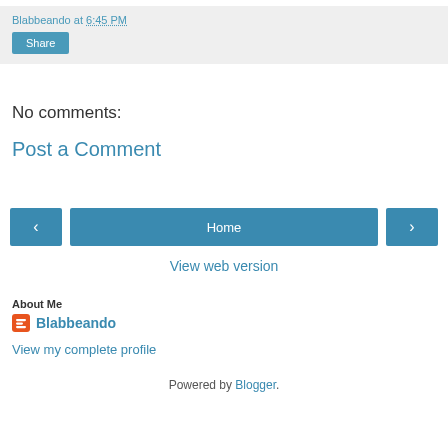Blabbeando at 6:45 PM
Share
No comments:
Post a Comment
‹  Home  ›
View web version
About Me
Blabbeando
View my complete profile
Powered by Blogger.